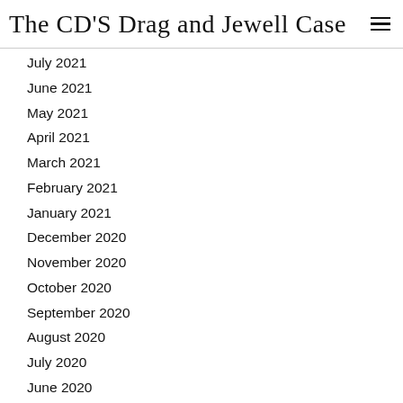The CD'S Drag and Jewell Case
July 2021
June 2021
May 2021
April 2021
March 2021
February 2021
January 2021
December 2020
November 2020
October 2020
September 2020
August 2020
July 2020
June 2020
May 2020
April 2020